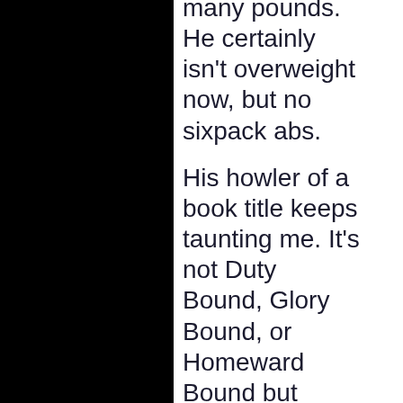many pounds. He certainly isn't overweight now, but no sixpack abs.
His howler of a book title keeps taunting me. It's not Duty Bound, Glory Bound, or Homeward Bound but Honour Bound. Certainly not Truth Bound, but some kind of bondage going on. I think he reveres